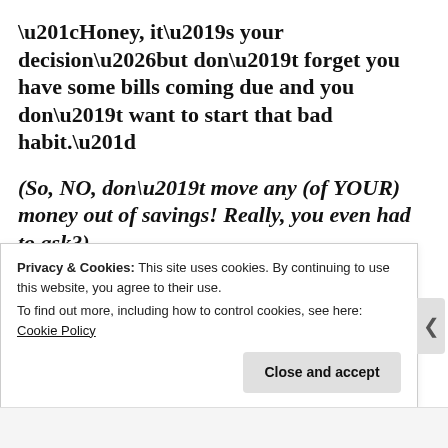“Honey, it’s your decision…but don’t forget you have some bills coming due and you don’t want to start that bad habit.”
(So, NO, don’t move any (of YOUR) money out of savings! Really, you even had to ask?)
I can’t count the number of times I’ve said, “Honey, it’s your decision” over the last
Privacy & Cookies: This site uses cookies. By continuing to use this website, you agree to their use.
To find out more, including how to control cookies, see here: Cookie Policy